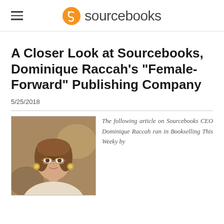sourcebooks
A Closer Look at Sourcebooks, Dominique Raccah’s “Female-Forward” Publishing Company
5/25/2018
[Figure (photo): Portrait photo of Dominique Raccah, a woman with brown hair and glasses, wearing a light-colored jacket]
The following article on Sourcebooks CEO Dominique Raccah ran in Bookselling This Weeky by